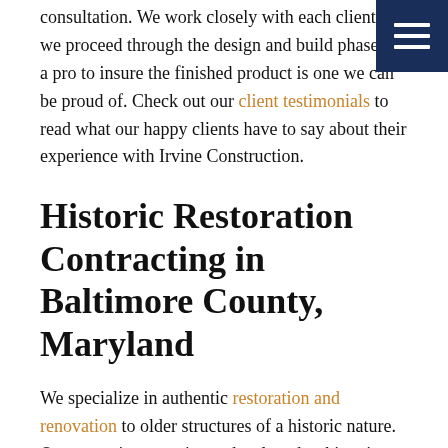consultation. We work closely with each client as we proceed through the design and build phases of a pro to insure the finished product is one we can be proud of. Check out our client testimonials to read what our happy clients have to say about their experience with Irvine Construction.
Historic Restoration Contracting in Baltimore County, Maryland
We specialize in authentic restoration and renovation to older structures of a historic nature. Our extensive experience developed as historic home contractors throughout central Maryland and Southern Pennsylvania is invaluable. We understand the importance of restoring and renovating old historic homes, including stone